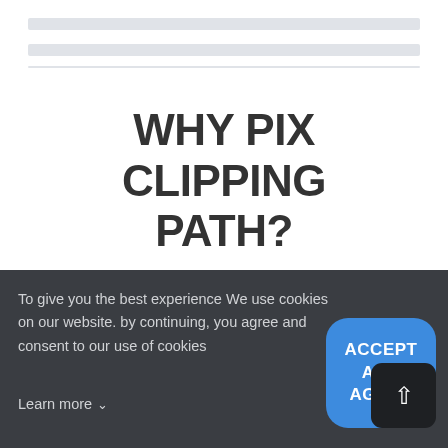[Figure (screenshot): Top navigation bar area with gray placeholder lines, partially visible at top of page.]
WHY PIX CLIPPING PATH?
[Figure (illustration): Orange circle with white headset/support icon inside, representing customer support, overlapping a white card at the bottom.]
To give you the best experience We use cookies on our website. by continuing, you agree and consent to our use of cookies
Learn more
[Figure (other): Blue rounded rectangle button with ACCEPT AND AGREE text, and a dark scroll-up button overlapping it.]